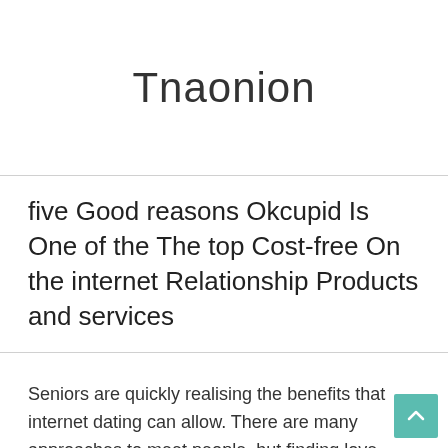Tnaonion
five Good reasons Okcupid Is One of the The top Cost-free On the internet Relationship Products and services
Seniors are quickly realising the benefits that internet dating can allow. There are many approaches to meet people, but finding love online can be quick, efficient and manageable. Online dating sites have many positive aspects and are organised, so seniors may easily create profiles, upload pictures, search for prospective dates, and back